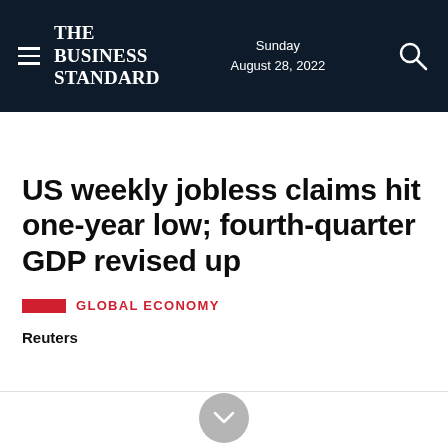The Business Standard — Sunday August 28, 2022
US weekly jobless claims hit one-year low; fourth-quarter GDP revised up
GLOBAL ECONOMY
Reuters